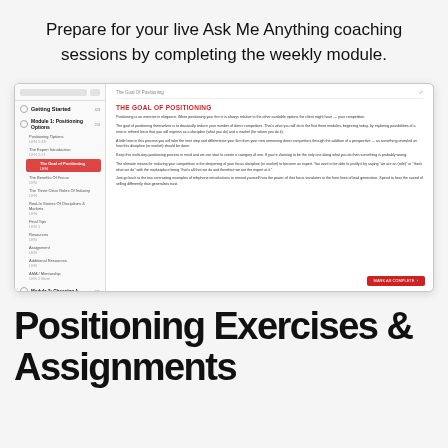Prepare for your live Ask Me Anything coaching sessions by completing the weekly module.
[Figure (screenshot): Screenshot of an online course platform showing a module page titled 'The Goal Of Positioning' with a sidebar listing course sections and main content area showing text about positioning.]
Positioning Exercises & Assignments